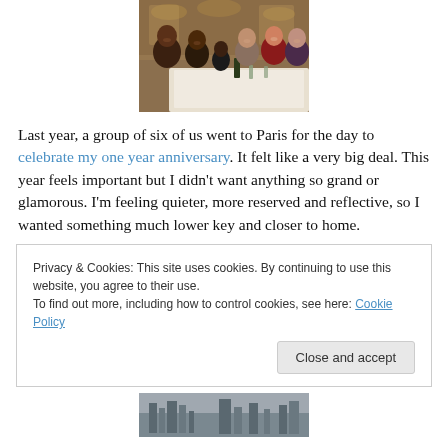[Figure (photo): Group of women seated at a restaurant dining table, smiling at camera]
Last year, a group of six of us went to Paris for the day to celebrate my one year anniversary. It felt like a very big deal. This year feels important but I didn't want anything so grand or glamorous. I'm feeling quieter, more reserved and reflective, so I wanted something much lower key and closer to home.
Privacy & Cookies: This site uses cookies. By continuing to use this website, you agree to their use.
To find out more, including how to control cookies, see here: Cookie Policy
[Figure (photo): Partial view of a cityscape or building exterior at bottom of page]